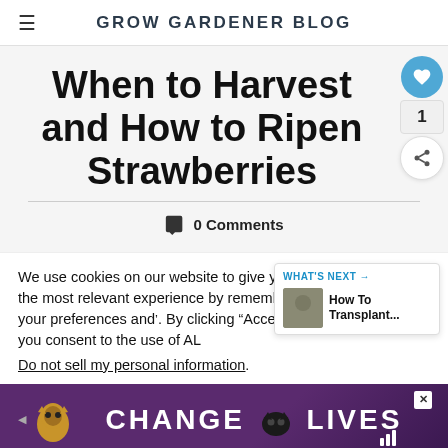GROW GARDENER BLOG
When to Harvest and How to Ripen Strawberries
0 Comments
We use cookies on our website to give you the most relevant experience by remembering your preferences and. By clicking “Accept”, you consent to the use of AL
Do not sell my personal information.
[Figure (screenshot): WHAT’S NEXT advertisement panel showing 'How To Transplant...' with thumbnail image]
[Figure (photo): Advertisement banner with cats and text CHANGE LIVES on purple background]